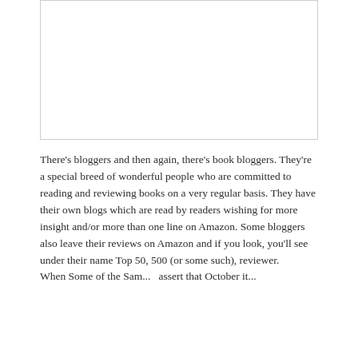[Figure (other): Blank white image placeholder with light grey border]
There's bloggers and then again, there's book bloggers. They're a special breed of wonderful people who are committed to reading and reviewing books on a very regular basis. They have their own blogs which are read by readers wishing for more insight and/or more than one line on Amazon. Some bloggers also leave their reviews on Amazon and if you look, you'll see under their name Top 50, 500 (or some such), reviewer.
When Some of the Sam... assert that October it...